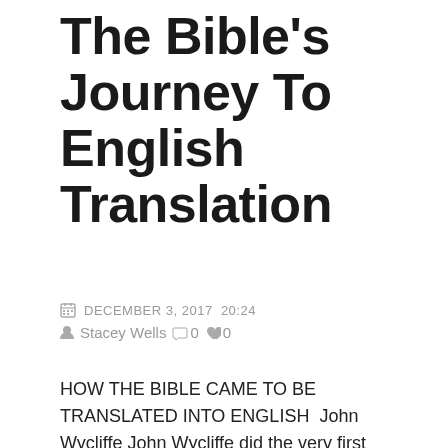The Bible's Journey To English Translation
DECEMBER 3, 2017  20:24
Stacey Wells  0  0
HOW THE BIBLE CAME TO BE TRANSLATED INTO ENGLISH  John Wycliffe John Wycliffe did the very first English translation of the Bible in 1382 AD. He was a professor at Oxford and he...